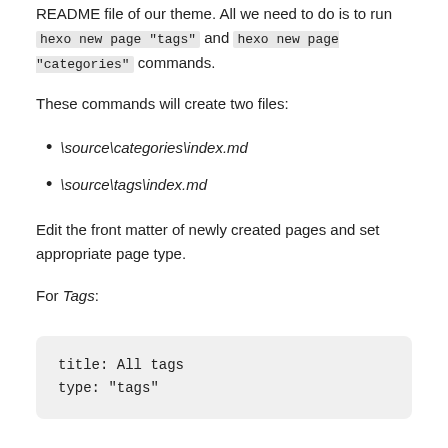README file of our theme. All we need to do is to run hexo new page "tags" and hexo new page "categories" commands.
These commands will create two files:
\source\categories\index.md
\source\tags\index.md
Edit the front matter of newly created pages and set appropriate page type.
For Tags:
title: All tags
type: "tags"